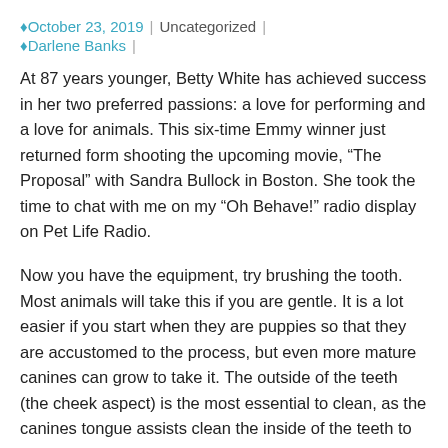October 23, 2019 | Uncategorized | Darlene Banks
At 87 years younger, Betty White has achieved success in her two preferred passions: a love for performing and a love for animals. This six-time Emmy winner just returned form shooting the upcoming movie, “The Proposal” with Sandra Bullock in Boston. She took the time to chat with me on my “Oh Behave!” radio display on Pet Life Radio.
Now you have the equipment, try brushing the tooth. Most animals will take this if you are gentle. It is a lot easier if you start when they are puppies so that they are accustomed to the process, but even more mature canines can grow to take it. The outside of the teeth (the cheek aspect) is the most essential to clean, as the canines tongue assists clean the inside of the teeth to an extent.
Getting him to remain place in a location is important. It will be very frustrating to have your